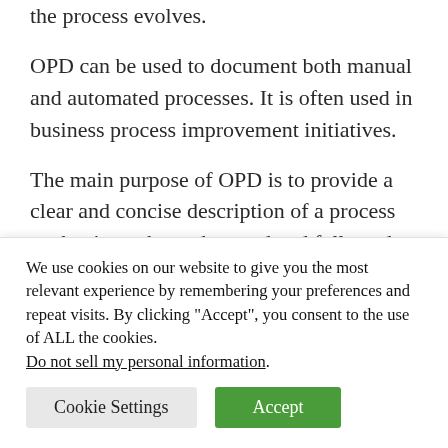the process evolves.
OPD can be used to document both manual and automated processes. It is often used in business process improvement initiatives.
The main purpose of OPD is to provide a clear and concise description of a process so that it can be understood and followed by those who are responsible for executing it. OPD can also
We use cookies on our website to give you the most relevant experience by remembering your preferences and repeat visits. By clicking “Accept”, you consent to the use of ALL the cookies. Do not sell my personal information.
Cookie Settings
Accept